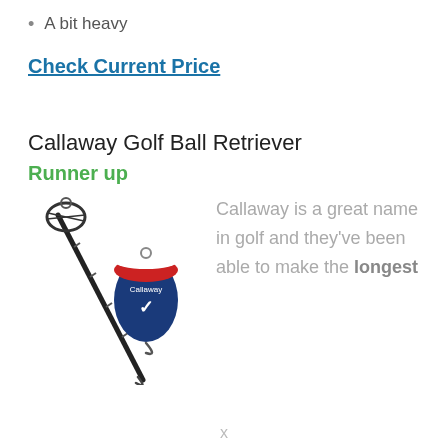A bit heavy
Check Current Price
Callaway Golf Ball Retriever
Runner up
[Figure (photo): Callaway golf ball retriever product photo showing an extendable pole with a basket retriever head and a Callaway branded head cover]
Callaway is a great name in golf and they’ve been able to make the longest